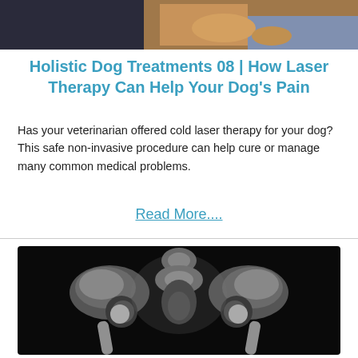[Figure (photo): Photo of a dog being examined or treated, visible at top of page]
Holistic Dog Treatments 08 | How Laser Therapy Can Help Your Dog's Pain
Has your veterinarian offered cold laser therapy for your dog? This safe non-invasive procedure can help cure or manage many common medical problems.
Read More....
[Figure (photo): X-ray image of a dog's pelvis and hip joints shown in black and white]